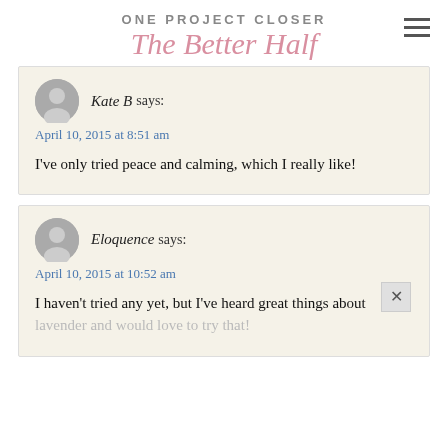ONE PROJECT CLOSER / The Better Half
Kate B says:
April 10, 2015 at 8:51 am
I've only tried peace and calming, which I really like!
Eloquence says:
April 10, 2015 at 10:52 am
I haven't tried any yet, but I've heard great things about lavender and would love to try that!